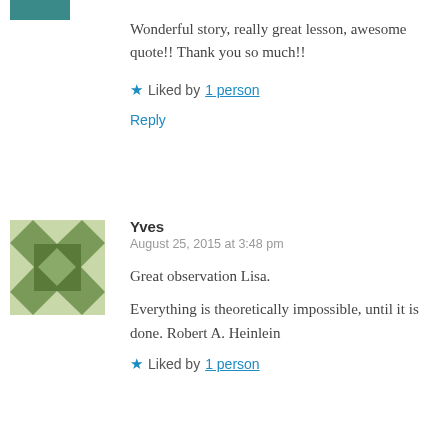[Figure (illustration): Partial avatar icon (geometric teal/dark pattern) cropped at top-left corner]
Wonderful story, really great lesson, awesome quote!! Thank you so much!!
★ Liked by 1 person
Reply
[Figure (illustration): Square avatar with green geometric/quilt pattern for user Yves]
Yves
August 25, 2015 at 3:48 pm
Great observation Lisa.
Everything is theoretically impossible, until it is done. Robert A. Heinlein
★ Liked by 1 person